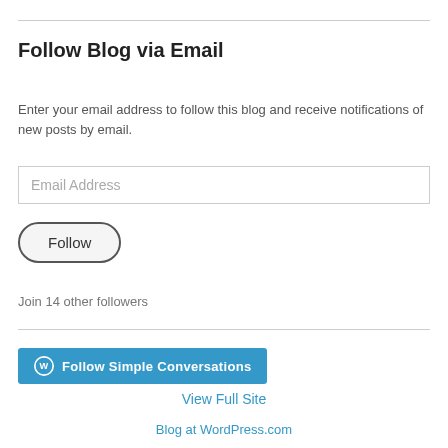Follow Blog via Email
Enter your email address to follow this blog and receive notifications of new posts by email.
[Figure (screenshot): Email Address input field]
[Figure (screenshot): Follow button with rounded border]
Join 14 other followers
[Figure (screenshot): Follow Simple Conversations button with WordPress icon]
View Full Site
Blog at WordPress.com